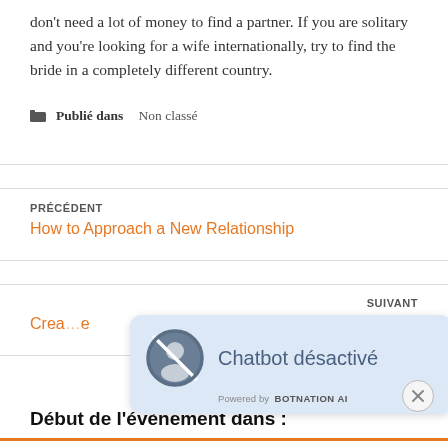don't need a lot of money to find a partner. If you are solitary and you're looking for a wife internationally, try to find the bride in a completely different country.
Publié dans Non classé
PRÉCÉDENT
How to Approach a New Relationship
SUIVANT
Crea… e
[Figure (other): Chatbot désactivé popup with a no-entry icon showing a person avatar, text 'Chatbot désactivé', powered by BOTNATION AI label, and a close X button]
Début de l'évènement dans :